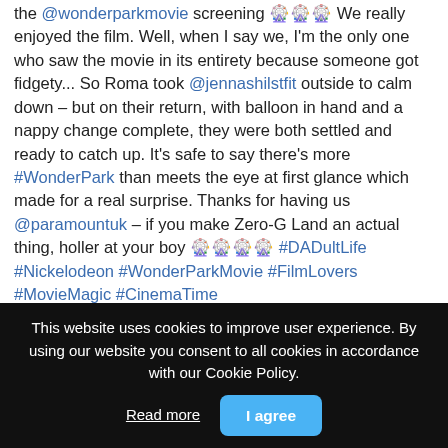the @wonderparkmovie screening 🎡🎡🎡 We really enjoyed the film. Well, when I say we, I'm the only one who saw the movie in its entirety because someone got fidgety... So Roma took @jennashilstfit outside to calm down – but on their return, with balloon in hand and a nappy change complete, they were both settled and ready to catch up. It's safe to say there's more #WonderPark than meets the eye at first glance which made for a real surprise. Thanks for having us @paramountuk – if you make Zero-G Land an actual thing, holler at your boy 🎡🎡🎡🎡 #DADultLife #Nickelodeon #WonderParkMovie #FilmLovers #MovieMagic #CinemaTime
view all 6 comments
Add a comment...
With fun in the foramin following hashtactions received...
This website uses cookies to improve user experience. By using our website you consent to all cookies in accordance with our Cookie Policy.